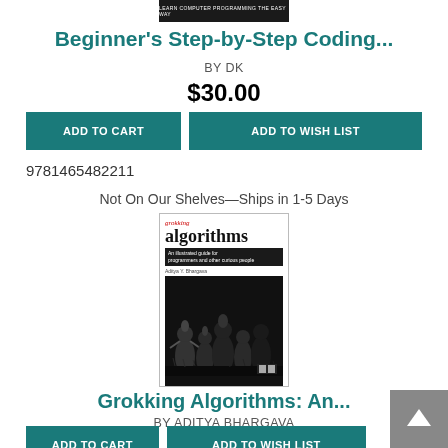[Figure (photo): Top portion of a book cover showing dark background with white text 'LEARN COMPUTER PROGRAMMING THE EASY WAY']
Beginner's Step-by-Step Coding...
BY DK
$30.00
ADD TO CART
ADD TO WISH LIST
9781465482211
Not On Our Shelves—Ships in 1-5 Days
[Figure (photo): Book cover for 'Grokking Algorithms: An illustrated guide for programmers and other curious people' by Aditya Y. Bhargava, showing cartoon-style illustration of bird-like figures looking upward]
Grokking Algorithms: An...
BY ADITYA BHARGAVA
$44.99
ADD TO CART
ADD TO WISH LIST